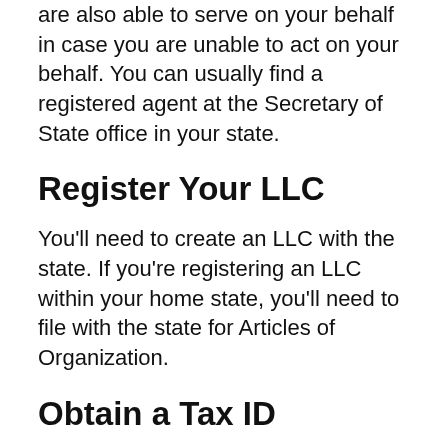are also able to serve on your behalf in case you are unable to act on your behalf. You can usually find a registered agent at the Secretary of State office in your state.
Register Your LLC
You'll need to create an LLC with the state. If you're registering an LLC within your home state, you'll need to file with the state for Articles of Organization.
Obtain a Tax ID
If you're planning to form an LLC in the state you reside in it is possible to get an tax ID number from the state you reside in. This will allow you to deduct the LLC's expenses.